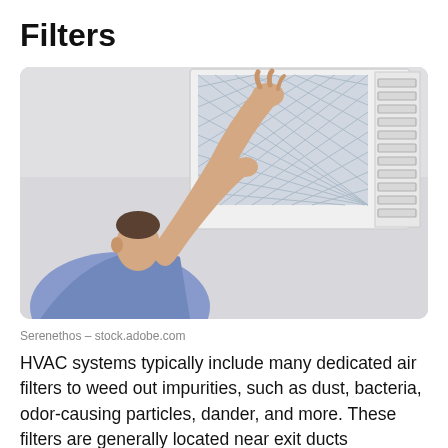Filters
[Figure (photo): A man in a blue shirt reaching up to install or remove a white pleated air filter in a ceiling HVAC vent. The filter has a diamond/cross-hatch pattern. The ceiling is white and the person is looking upward at the vent.]
Serenethos – stock.adobe.com
HVAC systems typically include many dedicated air filters to weed out impurities, such as dust, bacteria, odor-causing particles, dander, and more. These filters are generally located near exit ducts